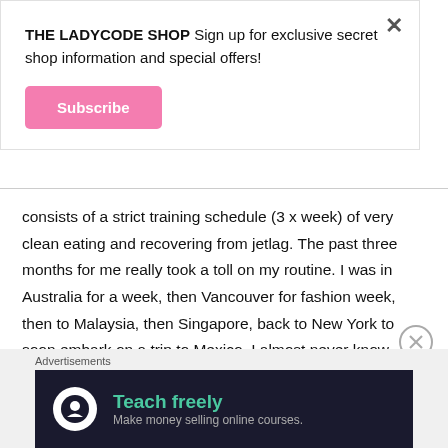THE LADYCODE SHOP Sign up for exclusive secret shop information and special offers!
Subscribe
consists of a strict training schedule (3 x week) of very clean eating and recovering from jetlag. The past three months for me really took a toll on my routine. I was in Australia for a week, then Vancouver for fashion week, then to Malaysia, then Singapore, back to New York to soon embark on a trip to Mexico. I almost never know what time zone my body is on. It is super important to stay healthy and on schedule as much as you can. I do still have a lot of fun and go out with friends a lot but even small things like getting up at the
Advertisements
[Figure (infographic): Ad banner with dark background showing 'Teach freely' in teal text and 'Make money selling online courses.' subtitle with a white circular icon]